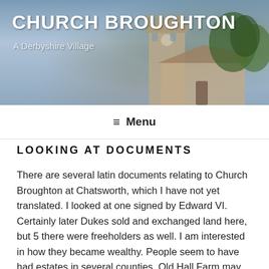[Figure (photo): Header banner photo of Church Broughton showing a church tower against a blue sky with trees]
CHURCH BROUGHTON
A Derbyshire Village
≡ Menu
LOOKING AT DOCUMENTS
There are several latin documents relating to Church Broughton at Chatsworth, which I have not yet translated. I looked at one signed by Edward VI. Certainly later Dukes sold and exchanged land here, but 5 there were freeholders as well. I am interested in how they became wealthy. People seem to have had estates in several counties. Old Hall Farm may have started as a single storey house before 1300 and have been added to, but the builder must have had fairly substantial funds.